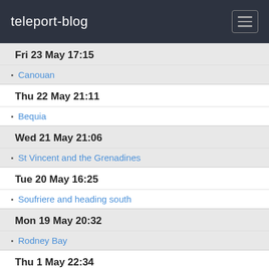teleport-blog
Fri 23 May 17:15
Canouan
Thu 22 May 21:11
Bequia
Wed 21 May 21:06
St Vincent and the Grenadines
Tue 20 May 16:25
Soufriere and heading south
Mon 19 May 20:32
Rodney Bay
Thu 1 May 22:34
Trou Gascon
Apr 2014
Tue 29 Apr 15:20
Anse des Pitons